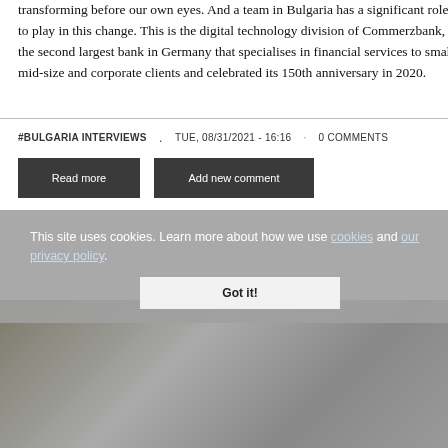transforming before our own eyes. And a team in Bulgaria has a significant role to play in this change. This is the digital technology division of Commerzbank, the second largest bank in Germany that specialises in financial services to small, mid-size and corporate clients and celebrated its 150th anniversary in 2020.
#BULGARIA INTERVIEWS   .   TUE, 08/31/2021 - 16:16  ·  0 COMMENTS
Read more
Add new comment
This site uses cookies. Learn more about how we use cookies and our privacy policy.
Got it!
[Figure (photo): Photo partially visible at the bottom of the page, showing what appears to be industrial or office equipment]